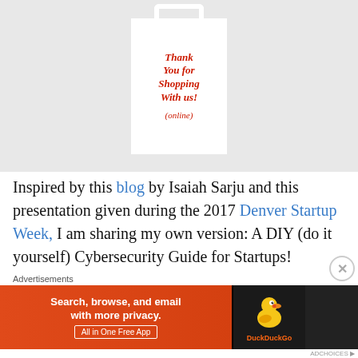[Figure (illustration): A white shopping bag on a gray background with red italic bold text reading 'Thank You for Shopping With us! (online)']
Inspired by this blog by Isaiah Sarju and this presentation given during the 2017 Denver Startup Week, I am sharing my own version: A DIY (do it yourself) Cybersecurity Guide for Startups!
Advertisements
[Figure (screenshot): DuckDuckGo advertisement banner: orange left side with text 'Search, browse, and email with more privacy. All in One Free App', dark right side with DuckDuckGo duck logo]